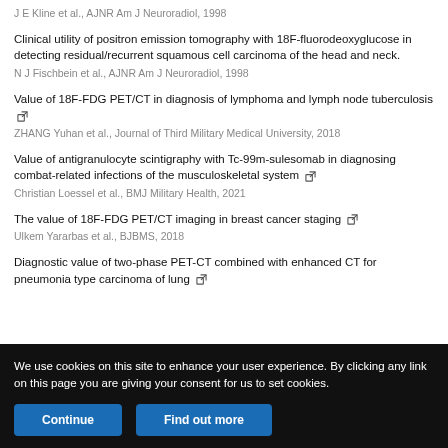J E Kline et al., AJNR Am J Neuroradiol, 1998
Clinical utility of positron emission tomography with 18F-fluorodeoxyglucose in detecting residual/recurrent squamous cell carcinoma of the head and neck.
N J Fischbein et al., AJNR Am J Neuroradiol, 1998
Value of 18F-FDG PET/CT in diagnosis of lymphoma and lymph node tuberculosis
ZHANG Yuhan et al., Journal of Third Military Medical University, 2018
Value of antigranulocyte scintigraphy with Tc-99m-sulesomab in diagnosing combat-related infections of the musculoskeletal system
Christian Loessel et al., BMJ Military Health, 2021
The value of 18F-FDG PET/CT imaging in breast cancer staging
Ulkem Yararbas et al., BJBMS, 2018
Diagnostic value of two-phase PET-CT combined with enhanced CT for pneumonia type carcinoma of lung
We use cookies on this site to enhance your user experience. By clicking any link on this page you are giving your consent for us to set cookies.